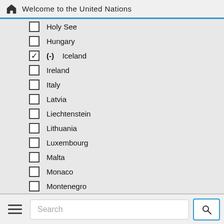Welcome to the United Nations
Holy See
Hungary
(-) Iceland (checked)
Ireland
Italy
Latvia
Liechtenstein
Lithuania
Luxembourg
Malta
Monaco
Montenegro
Netherlands (the)
North Macedonia
Norway
Poland
Portugal
Search